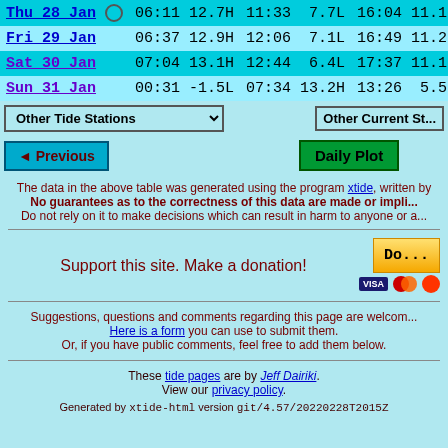| Day | Tide1 Time | Tide1 Ht | Tide2 Time | Tide2 Ht | Tide3 Time | Tide3 Ht |
| --- | --- | --- | --- | --- | --- | --- |
| Thu 28 Jan | 06:11 | 12.7H | 11:33 | 7.7L | 16:04 | 11.1 |
| Fri 29 Jan | 06:37 | 12.9H | 12:06 | 7.1L | 16:49 | 11.2 |
| Sat 30 Jan | 07:04 | 13.1H | 12:44 | 6.4L | 17:37 | 11.1 |
| Sun 31 Jan | 00:31 | -1.5L | 07:34 | 13.2H | 13:26 | 5.5 |
Other Tide Stations | Other Current Stations (dropdowns/buttons)
◄ Previous | Daily Plot (navigation buttons)
The data in the above table was generated using the program xtide, written by
No guarantees as to the correctness of this data are made or implied.
Do not rely on it to make decisions which can result in harm to anyone or a
Support this site. Make a donation!
Suggestions, questions and comments regarding this page are welcome.
Here is a form you can use to submit them.
Or, if you have public comments, feel free to add them below.
These tide pages are by Jeff Dairiki. View our privacy policy.
Generated by xtide-html version git/4.57/20220228T2015Z